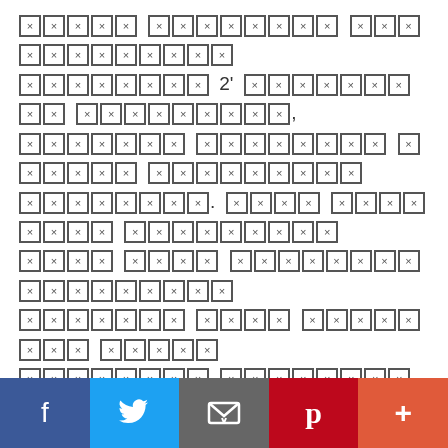[redacted content with tofu characters] 2' [redacted] [redacted] [redacted] [redacted]. [redacted] [redacted] [redacted] [redacted] [redacted] [redacted] [redacted] [redacted] [redacted] [redacted] [redacted] [redacted] [redacted]. [redacted] [redacted] [redacted] [redacted] [redacted] [redacted] [redacted] [redacted] [redacted] [redacted] [redacted] [redacted], [redacted] [redacted].
[Figure (other): Social sharing bar with Facebook, Twitter, Email, Pinterest, and More (+) buttons]